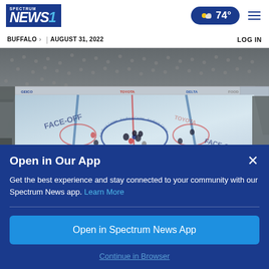Spectrum NEWS1
BUFFALO > | AUGUST 31, 2022
LOG IN
[Figure (photo): Aerial view of a hockey rink during a face-off, with players gathered at center ice. Advertisements visible on boards including GEICO, Toyota, Delta. The ice shows FACE-OFF markings.]
Open in Our App
Get the best experience and stay connected to your community with our Spectrum News app. Learn More
Open in Spectrum News App
Continue in Browser